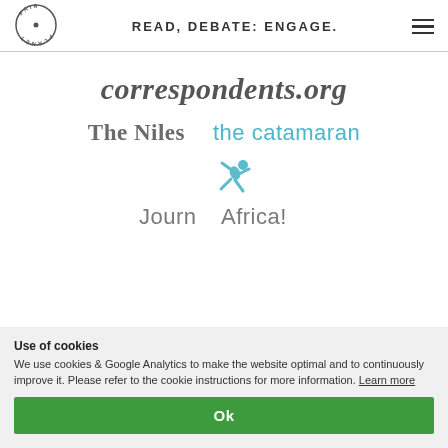READ, DEBATE: ENGAGE.
correspondents.org
[Figure (logo): The Niles logo (bold serif, grey)]
[Figure (logo): the catamaran logo (light blue, sans-serif)]
[Figure (logo): JournAfrica! logo with teal jumping figure]
Use of cookies
We use cookies & Google Analytics to make the website optimal and to continuously improve it. Please refer to the cookie instructions for more information. Learn more
Ok